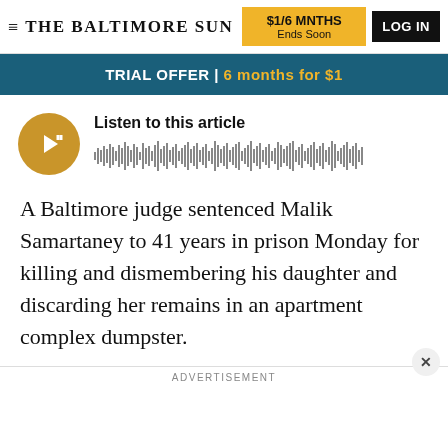THE BALTIMORE SUN | $1/6 MNTHS Ends Soon | LOG IN
TRIAL OFFER | 6 months for $1
[Figure (other): Audio player with golden play button and waveform visualization. Label reads: Listen to this article]
A Baltimore judge sentenced Malik Samartaney to 41 years in prison Monday for killing and dismembering his daughter and discarding her remains in an apartment complex dumpster.
ADVERTISEMENT